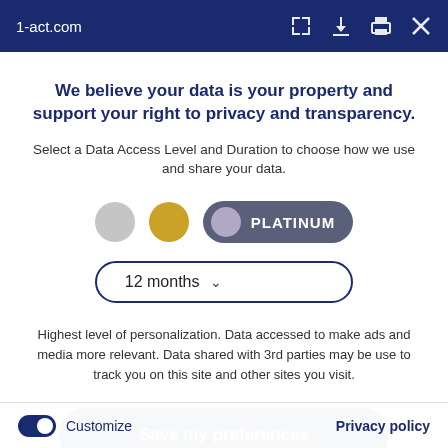1-act.com
We believe your data is your property and support your right to privacy and transparency.
Select a Data Access Level and Duration to choose how we use and share your data.
[Figure (infographic): Three privacy level selectors: a gray circle, a gold circle, and a dark gray pill/toggle showing 'PLATINUM' with a lavender circle. Below is a dropdown showing '12 months' with a chevron.]
Highest level of personalization. Data accessed to make ads and media more relevant. Data shared with 3rd parties may be use to track you on this site and other sites you visit.
Save my preferences
Customize   Privacy policy